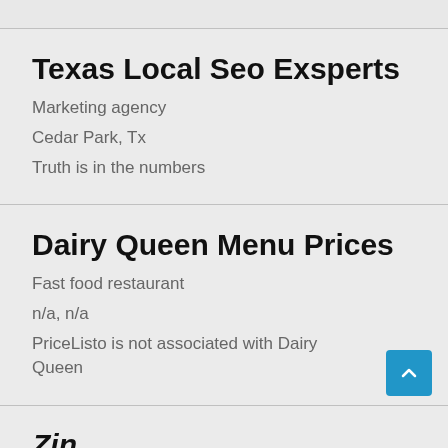Texas Local Seo Exsperts
Marketing agency
Cedar Park, Tx
Truth is in the numbers
Dairy Queen Menu Prices
Fast food restaurant
n/a, n/a
PriceListo is not associated with Dairy Queen
Zin...